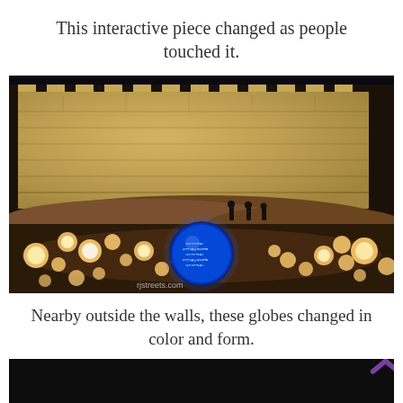This interactive piece changed as people touched it.
[Figure (photo): Night-time photograph showing an ancient stone wall (resembling Jerusalem's Old City walls) illuminated by warm light, with figures silhouetted on a ridge. In the foreground, many glowing orange/white light globes are scattered across the ground, with one large blue glowing sphere in the center displaying text patterns. Watermark reads 'rjstreets.com'.]
Nearby outside the walls, these globes changed in color and form.
[Figure (photo): Partial view of another photograph showing a dark/black background with a purple upward-pointing chevron/arrow symbol visible in the upper right, and a faint blue circular element at the bottom center.]